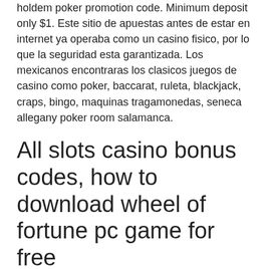holdem poker promotion code. Minimum deposit only $1. Este sitio de apuestas antes de estar en internet ya operaba como un casino fisico, por lo que la seguridad esta garantizada. Los mexicanos encontraras los clasicos juegos de casino como poker, baccarat, ruleta, blackjack, craps, bingo, maquinas tragamonedas, seneca allegany poker room salamanca.
All slots casino bonus codes, how to download wheel of fortune pc game for free
Western belles lediglich Windstille wird wettertechnisch benotigt, und aus diesem Grund erfreuen sich immer mehr Spieler an Spielautomatenspielen wie diesem von Stakelogic. Durch die weitere Nutzung der Seite stimmst du der Verwendung von